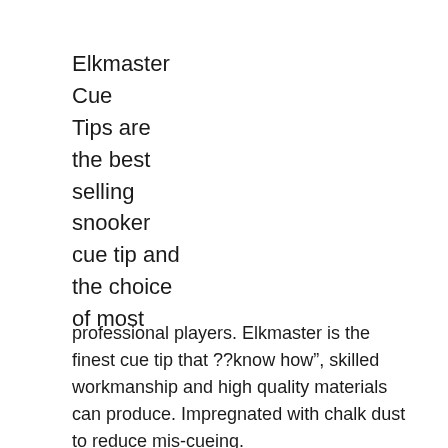Elkmaster
Cue
Tips are
the best
selling
snooker
cue tip and
the choice
of most
professional players. Elkmaster is the finest cue tip that ??know how", skilled workmanship and high quality materials can produce. Impregnated with chalk dust to reduce mis-cueing.